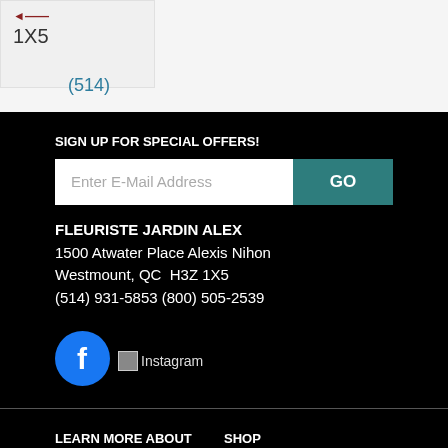1X5
(514)
SIGN UP FOR SPECIAL OFFERS!
Enter E-Mail Address    GO
FLEURISTE JARDIN ALEX
1500 Atwater Place Alexis Nihon
Westmount, QC  H3Z 1X5
(514) 931-5853 (800) 505-2539
[Figure (logo): Facebook logo blue circle with white f]
[Figure (photo): Instagram placeholder image]
LEARN MORE ABOUT
SHOP
About Us
Grandparents Day